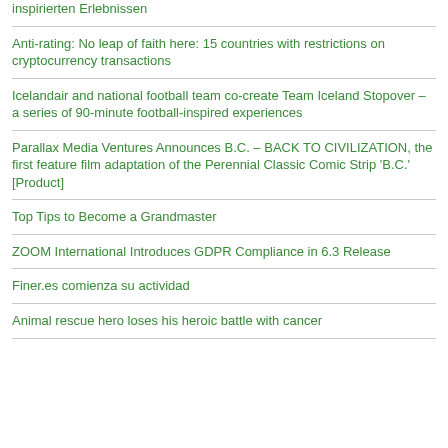inspirierten Erlebnissen
Anti-rating: No leap of faith here: 15 countries with restrictions on cryptocurrency transactions
Icelandair and national football team co-create Team Iceland Stopover – a series of 90-minute football-inspired experiences
Parallax Media Ventures Announces B.C. – BACK TO CIVILIZATION, the first feature film adaptation of the Perennial Classic Comic Strip 'B.C.' [Product]
Top Tips to Become a Grandmaster
ZOOM International Introduces GDPR Compliance in 6.3 Release
Finer.es comienza su actividad
Animal rescue hero loses his heroic battle with cancer